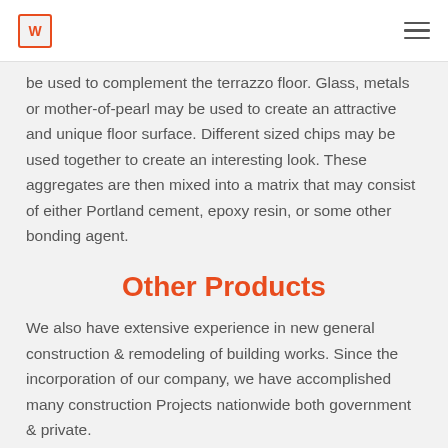be used to complement the terrazzo floor. Glass, metals or mother-of-pearl may be used to create an attractive and unique floor surface. Different sized chips may be used together to create an interesting look. These aggregates are then mixed into a matrix that may consist of either Portland cement, epoxy resin, or some other bonding agent.
Other Products
We also have extensive experience in new general construction & remodeling of building works. Since the incorporation of our company, we have accomplished many construction Projects nationwide both government & private.